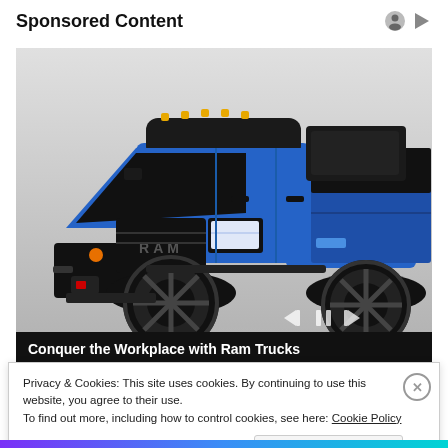Sponsored Content
[Figure (photo): Blue RAM 2500 Power Wagon truck, front three-quarter view, with black grille, off-road tires, and red winch hook, on white/grey background. Media playback controls (rewind, pause, fast-forward) visible at lower right of image, and a progress bar at the bottom.]
Conquer the Workplace with Ram Trucks
Privacy & Cookies: This site uses cookies. By continuing to use this website, you agree to their use.
To find out more, including how to control cookies, see here: Cookie Policy
Close and accept